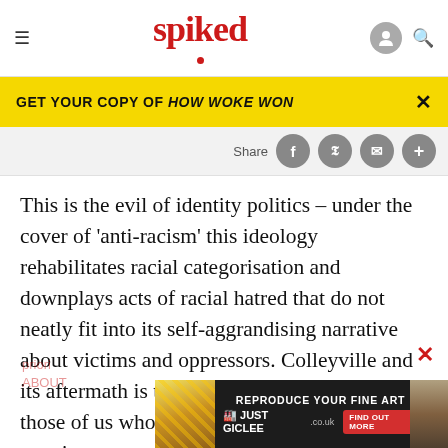spiked
[Figure (screenshot): Yellow promotional banner: GET YOUR COPY OF HOW WOKE WON with close X button]
[Figure (screenshot): Share bar with Share label and social media icon buttons (Facebook, Twitter, Email, Plus)]
This is the evil of identity politics – under the cover of 'anti-racism' this ideology rehabilitates racial categorisation and downplays acts of racial hatred that do not neatly fit into its self-aggrandising narrative about victims and oppressors. Colleyville and its aftermath is the latest confirmation that those of us who are genuinely committed to creating a post-racial world of equality and freedom must make a moral
[Figure (screenshot): Advertisement banner: REPRODUCE YOUR FINE ART - JUST GICLEE.co.uk - FIND OUT MORE button, with colorful sticky notes thumbnail on left and portrait photo on right]